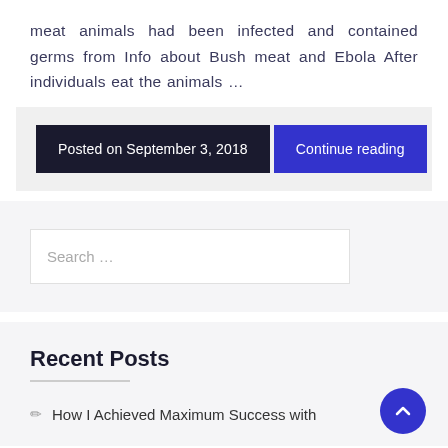meat animals had been infected and contained germs from Info about Bush meat and Ebola After individuals eat the animals …
Posted on September 3, 2018
Continue reading
Search …
Recent Posts
How I Achieved Maximum Success with